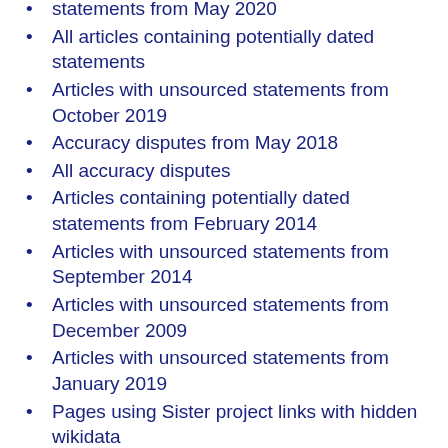statements from May 2020
All articles containing potentially dated statements
Articles with unsourced statements from October 2019
Accuracy disputes from May 2018
All accuracy disputes
Articles containing potentially dated statements from February 2014
Articles with unsourced statements from September 2014
Articles with unsourced statements from December 2009
Articles with unsourced statements from January 2019
Pages using Sister project links with hidden wikidata
Pages using Sister project links with default